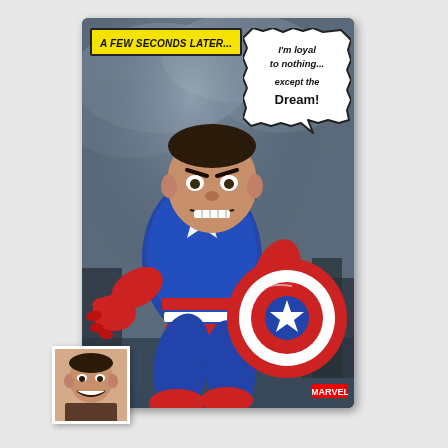[Figure (illustration): Comic book style illustration card showing a caricature of a man's face on Captain America's body, wearing blue suit with star, holding the iconic red-white-blue circular shield, running in an action pose. Dark stormy background. Yellow caption banner at top reads 'A FEW SECONDS LATER...' and a speech bubble says 'I'M LOYAL TO NOTHING... EXCEPT THE DREAM!'. Marvel logo at bottom right. A small reference photo of a smiling man is in the bottom left corner.]